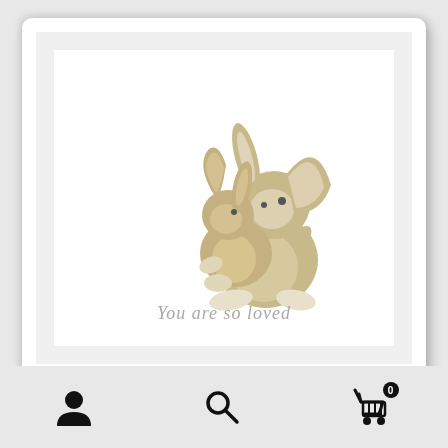[Figure (illustration): A framed illustration showing two cartoon bunnies hugging each other. A large bunny with long floppy ears embraces a smaller bunny. Both are drawn in soft tan/beige watercolor style. Below the illustration is the text 'You are so loved' in a light gray cursive/italic font. The image is displayed in a white picture frame.]
[Figure (infographic): Bottom navigation bar with three icons: a person/user icon on the left, a magnifying glass/search icon in the center, and a shopping cart icon with a badge showing '0' on the right.]